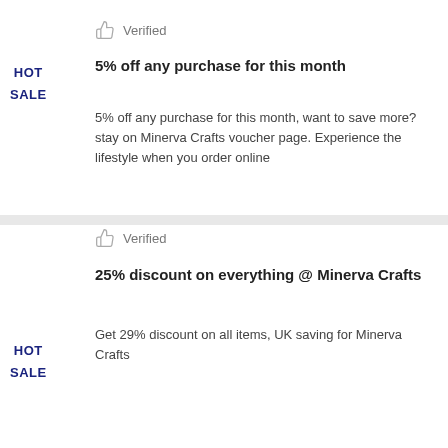Verified
5% off any purchase for this month
HOT
SALE
5% off any purchase for this month, want to save more? stay on Minerva Crafts voucher page. Experience the lifestyle when you order online
Verified
25% discount on everything @ Minerva Crafts
HOT
SALE
Get 29% discount on all items, UK saving for Minerva Crafts